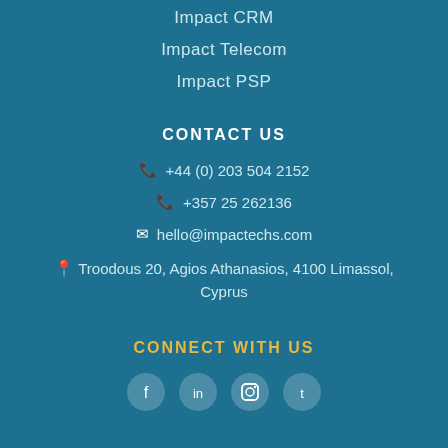Impact CRM
Impact Telecom
Impact PSP
CONTACT US
📞 +44 (0) 203 504 2152
📞 +357 25 262136
✉ hello@impactechs.com
📍 Troodous 20, Agios Athanasios, 4100 Limassol, Cyprus
CONNECT WITH US